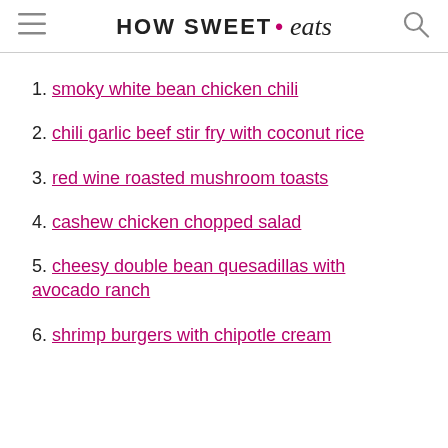HOW SWEET • eats
1. smoky white bean chicken chili
2. chili garlic beef stir fry with coconut rice
3. red wine roasted mushroom toasts
4. cashew chicken chopped salad
5. cheesy double bean quesadillas with avocado ranch
6. shrimp burgers with chipotle cream